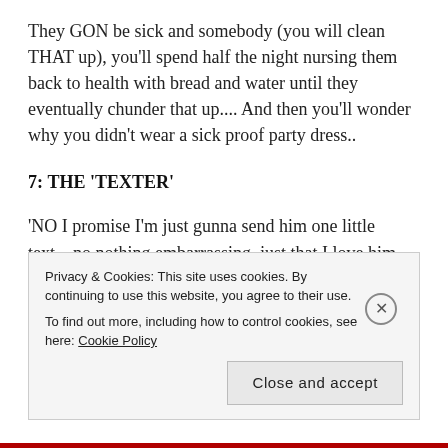They GON be sick and somebody (you will clean THAT up), you'll spend half the night nursing them back to health with bread and water until they eventually chunder that up.... And then you'll wonder why you didn't wear a sick proof party dress..
7: THE 'TEXTER'
'NO I promise I'm just gunna send him one little text....no nothing embarrassing, just that I love him and I think about him all the time and I want to
Privacy & Cookies: This site uses cookies. By continuing to use this website, you agree to their use.
To find out more, including how to control cookies, see here: Cookie Policy
Close and accept